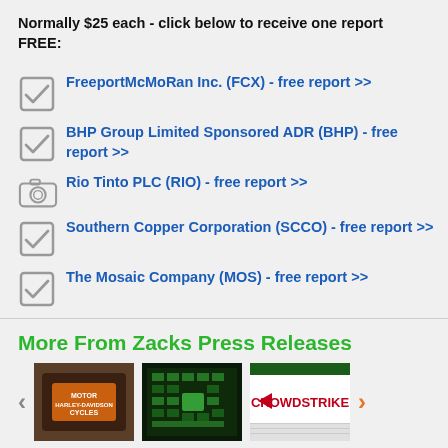Normally $25 each - click below to receive one report FREE:
FreeportMcMoRan Inc. (FCX) - free report >>
BHP Group Limited Sponsored ADR (BHP) - free report >>
Rio Tinto PLC (RIO) - free report >>
Southern Copper Corporation (SCCO) - free report >>
The Mosaic Company (MOS) - free report >>
More From Zacks Press Releases
[Figure (photo): Three thumbnails showing Harley-Davidson logo, a circuit board, and a CrowdStrike sign]